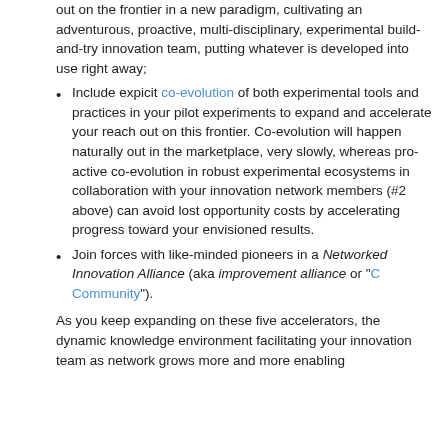out on the frontier in a new paradigm, cultivating an adventurous, proactive, multi-disciplinary, experimental build-and-try innovation team, putting whatever is developed into use right away;
Include explicit co-evolution of both experimental tools and practices in your pilot experiments to expand and accelerate your reach out on this frontier. Co-evolution will happen naturally out in the marketplace, very slowly, whereas pro-active co-evolution in robust experimental ecosystems in collaboration with your innovation network members (#2 above) can avoid lost opportunity costs by accelerating progress toward your envisioned results.
Join forces with like-minded pioneers in a Networked Innovation Alliance (aka improvement alliance or "C Community").
As you keep expanding on these five accelerators, the dynamic knowledge environment facilitating your innovation team as network grows more and more enabling